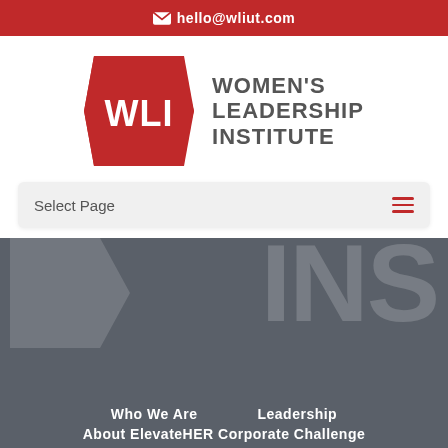hello@wliut.com
[Figure (logo): Women's Leadership Institute logo: red hexagon shape with white text WLI, next to bold gray uppercase text WOMEN'S LEADERSHIP INSTITUTE]
Select Page
[Figure (screenshot): Dark gray hero section with large faded white text INS and a white arrow/chevron shape on the left]
Who We Are    Leadership
About ElevateHER Corporate Challenge